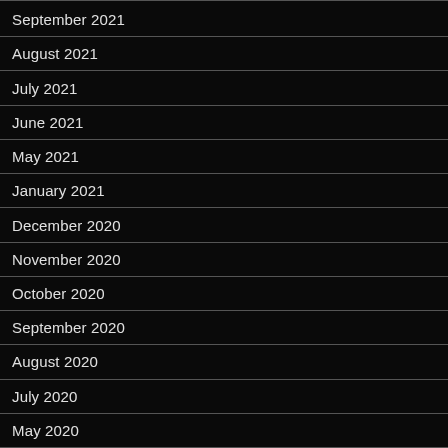September 2021
August 2021
July 2021
June 2021
May 2021
January 2021
December 2020
November 2020
October 2020
September 2020
August 2020
July 2020
May 2020